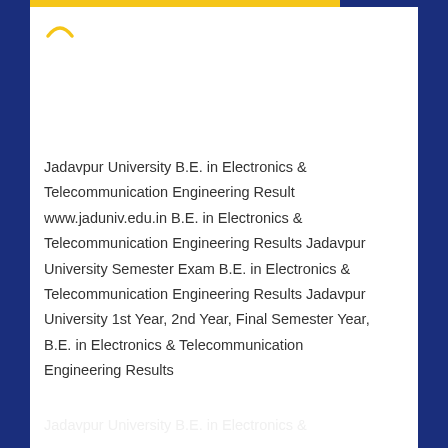[Figure (logo): Yellow crescent/smile arc logo in upper left of white content area]
Jadavpur University B.E. in Electronics & Telecommunication Engineering Result www.jaduniv.edu.in B.E. in Electronics & Telecommunication Engineering Results Jadavpur University Semester Exam B.E. in Electronics & Telecommunication Engineering Results Jadavpur University 1st Year, 2nd Year, Final Semester Year, B.E. in Electronics & Telecommunication Engineering Results
Jadavpur University B.E. in Electronics &